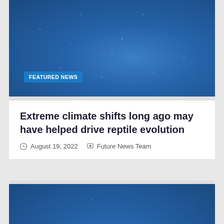[Figure (photo): Blue starry night sky background image with a 'FEATURED NEWS' badge in the lower left]
Extreme climate shifts long ago may have helped drive reptile evolution
August 19, 2022   Future News Team
[Figure (photo): Blue starry night sky background image with a 'FEATURED NEWS' badge in the lower left and a scroll-to-top arrow button in the lower right]